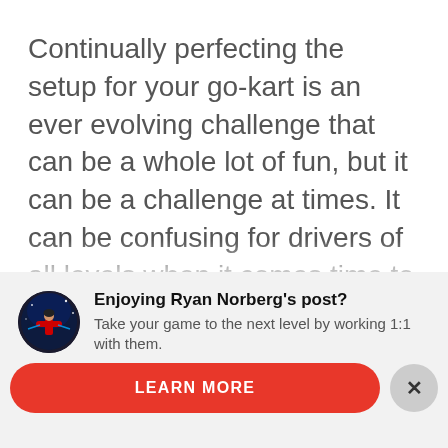Continually perfecting the setup for your go-kart is an ever evolving challenge that can be a whole lot of fun, but it can be a challenge at times. It can be confusing for drivers of all levels when it comes time to determine which type and length of go-kart axel setup is best for their kart.
[Figure (photo): Circular avatar photo of Ryan Norberg, a racing driver, shown with a dark background with blue lighting effects]
Enjoying Ryan Norberg's post? Take your game to the next level by working 1:1 with them.
LEARN MORE